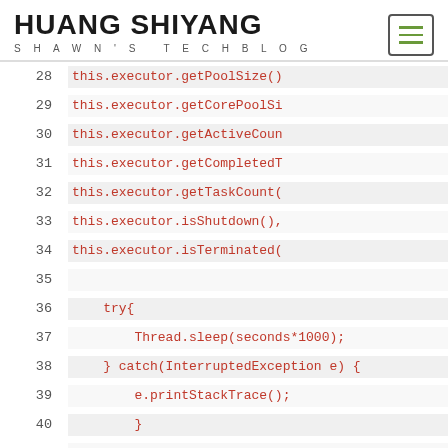HUANG SHIYANG
SHAWN'S TECHBLOG
[Figure (screenshot): Code snippet showing Java executor pool monitoring lines 28-41 with line numbers on left and code on right with pink/red monospace text on light gray backgrounds]
28  this.executor.getPoolSize()
29  this.executor.getCorePoolSi
30  this.executor.getActiveCoun
31  this.executor.getCompletedT
32  this.executor.getTaskCount(
33  this.executor.isShutdown(),
34  this.executor.isTerminated(
35
36      try{
37              Thread.sleep(seconds*1000);
38      } catch(InterruptedException e) {
39
40              e.printStackTrace();
41
42          }
43
44      }